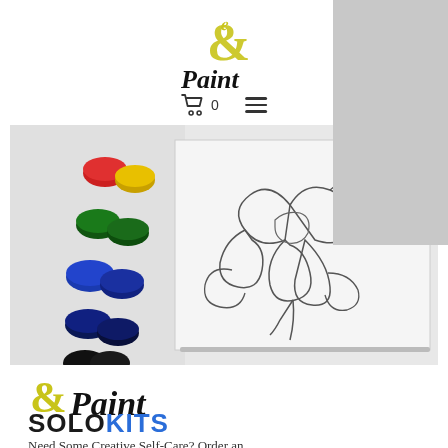[Figure (logo): & Paint logo with decorative ampersand in yellow-green and cursive Paint text in black]
[Figure (screenshot): Navigation bar with shopping cart icon showing 0 items and hamburger menu icon]
[Figure (photo): Paint kit photo showing colorful paint pots arranged on left and a white canvas with floral line drawing outline]
[Figure (logo): & Paint logo larger version with decorative ampersand in yellow-green and cursive Paint text]
SOLOKITS
Need Some Creative Self-Care? Order an